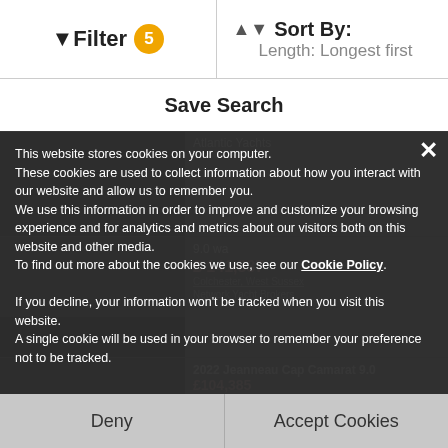Filter 5  |  Sort By: Length: Longest first
Save Search
Atlantic Yachts
This website stores cookies on your computer. These cookies are used to collect information about how you interact with our website and allow us to remember you. We use this information in order to improve and customize your browsing experience and for analytics and metrics about our visitors both on this website and other media. To find out more about the cookies we use, see our Cookie Policy.
9.0 wa
£ 141,837
Colchester, West Sussex
Network Yacht Brokers
If you decline, your information won't be tracked when you visit this website. A single cookie will be used in your browser to remember your preference not to be tracked.
2022 Jeanneau Cap Camarat 9.0
£104,385
Deny
Accept Cookies